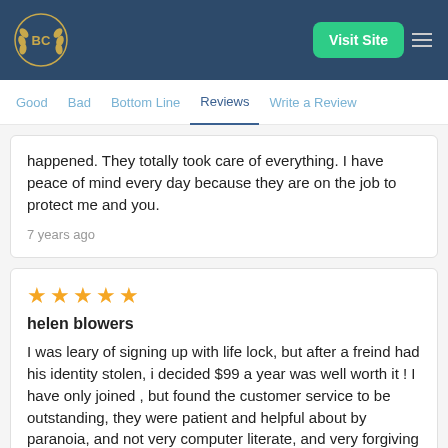[Figure (logo): BC logo with laurel wreath in gold on dark blue background]
Visit Site
Good   Bad   Bottom Line   Reviews   Write a Review
happened. They totally took care of everything. I have peace of mind every day because they are on the job to protect me and you.
7 years ago
★★★★★
helen blowers
I was leary of signing up with life lock, but after a freind had his identity stolen, i decided $99 a year was well worth it ! I have only joined , but found the customer service to be outstanding, they were patient and helpful about by paranoia, and not very computer literate, and very forgiving !!!...